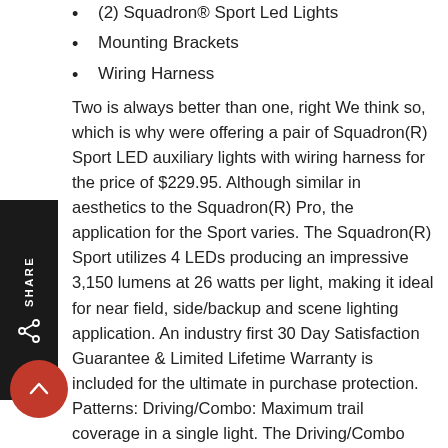(2) Squadron® Sport Led Lights
Mounting Brackets
Wiring Harness
Two is always better than one, right We think so, which is why were offering a pair of Squadron(R) Sport LED auxiliary lights with wiring harness for the price of $229.95. Although similar in aesthetics to the Squadron(R) Pro, the application for the Sport varies. The Squadron(R) Sport utilizes 4 LEDs producing an impressive 3,150 lumens at 26 watts per light, making it ideal for near field, side/backup and scene lighting application. An industry first 30 Day Satisfaction Guarantee & Limited Lifetime Warranty is included for the ultimate in purchase protection. Patterns: Driving/Combo: Maximum trail coverage in a single light. The Driving/Combo pattern is equipped with both Driving (42) spot (9) optics to provide you with a smooth blend of light for both near field applications and distance (Lighting Zone 3) Wide Cornering:BD was the first to